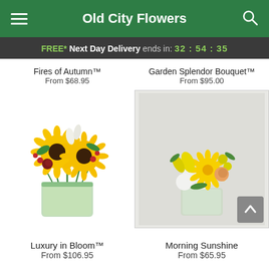Old City Flowers
FREE* Next Day Delivery ends in: 32:54:35
Fires of Autumn™
From $68.95
Garden Splendor Bouquet™
From $95.00
[Figure (photo): Luxury in Bloom bouquet: sunflowers, white tulips, red berries, and green stems in a square glass vase with green lining]
[Figure (photo): Morning Sunshine bouquet: yellow gerbera daisies, white hydrangeas, yellow calla lilies, alstroemeria, and a peach rose in a clear glass vase]
Luxury in Bloom™
From $106.95
Morning Sunshine
From $65.95